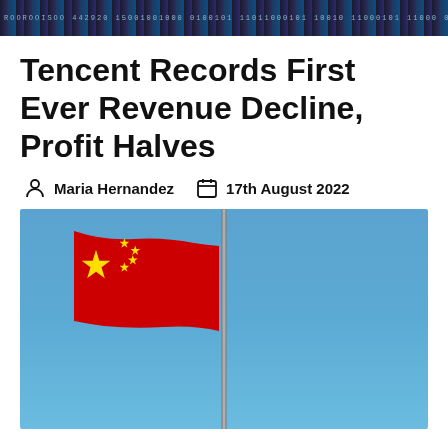ROOROOISOO 442920 15001001000 0100101 11011000101 10010
Tencent Records First Ever Revenue Decline, Profit Halves
Maria Hernandez   17th August 2022
[Figure (photo): Chinese national flag waving on a flagpole against a clear blue sky]
China Responds with New Military